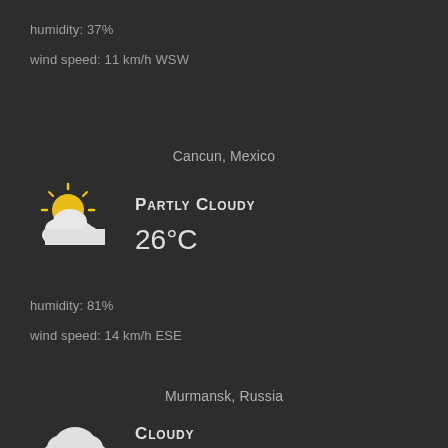humidity: 37%
wind speed: 11 km/h WSW
Cancun, Mexico
[Figure (illustration): Partly cloudy weather icon: sun behind cloud]
Partly Cloudy
26°C
humidity: 81%
wind speed: 14 km/h ESE
Murmansk, Russia
[Figure (illustration): Cloudy weather icon: white cloud]
Cloudy
16°C